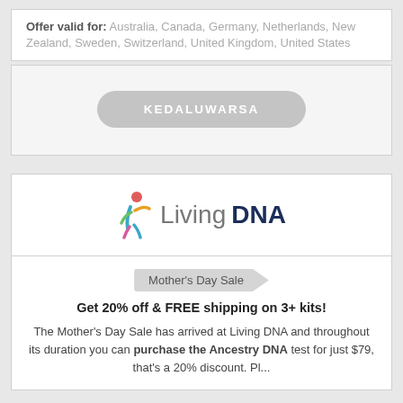Offer valid for: Australia, Canada, Germany, Netherlands, New Zealand, Sweden, Switzerland, United Kingdom, United States
[Figure (other): Expired/KEDALUWARSA button - greyed out rounded rectangle button with bold white text reading KEDALUWARSA]
[Figure (logo): Living DNA logo - colorful human figure icon next to text 'Living DNA' where 'Living' is gray and 'DNA' is dark navy bold]
Mother's Day Sale
Get 20% off & FREE shipping on 3+ kits!
The Mother's Day Sale has arrived at Living DNA and throughout its duration you can purchase the Ancestry DNA test for just $79, that's a 20% discount. Pl...